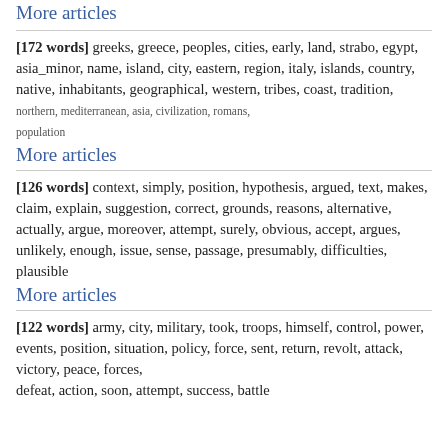More articles
[172 words] greeks, greece, peoples, cities, early, land, strabo, egypt, asia_minor, name, island, city, eastern, region, italy, islands, country, native, inhabitants, geographical, western, tribes, coast, tradition, northern, mediterranean, asia, civilization, romans, population
More articles
[126 words] context, simply, position, hypothesis, argued, text, makes, claim, explain, suggestion, correct, grounds, reasons, alternative, actually, argue, moreover, attempt, surely, obvious, accept, argues, unlikely, enough, issue, sense, passage, presumably, difficulties, plausible
More articles
[122 words] army, city, military, took, troops, himself, control, power, events, position, situation, policy, force, sent, return, revolt, attack, victory, peace, forces, defeat, action, soon, attempt, success, battle